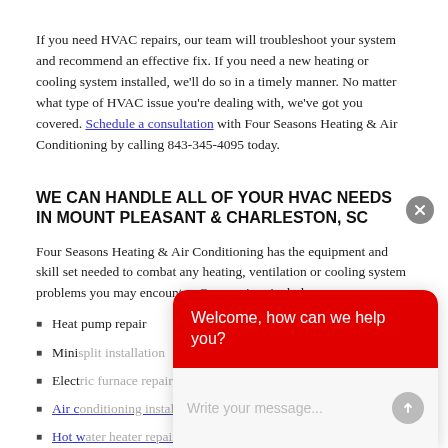If you need HVAC repairs, our team will troubleshoot your system and recommend an effective fix. If you need a new heating or cooling system installed, we'll do so in a timely manner. No matter what type of HVAC issue you're dealing with, we've got you covered. Schedule a consultation with Four Seasons Heating & Air Conditioning by calling 843-345-4095 today.
WE CAN HANDLE ALL OF YOUR HVAC NEEDS IN MOUNT PLEASANT & CHARLESTON, SC
Four Seasons Heating & Air Conditioning has the equipment and skill set needed to combat any heating, ventilation or cooling system problems you may encounter. Our services include:
Heat pump repair
Mini split installation
Electric furnace repair
Air conditioning installation
Hot water heater repair
Gas piping installation
[Figure (screenshot): Chat widget overlay with red header saying 'Welcome, how can we help you?' and a text input area below with placeholder 'Write your message...']